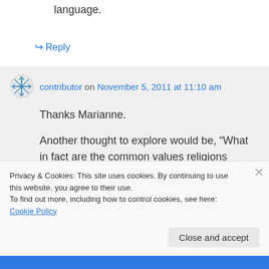language.
↪ Reply
contributor on November 5, 2011 at 11:10 am
Thanks Marianne.
Another thought to explore would be, “What in fact are the common values religions share?”
Privacy & Cookies: This site uses cookies. By continuing to use this website, you agree to their use.
To find out more, including how to control cookies, see here: Cookie Policy
Close and accept